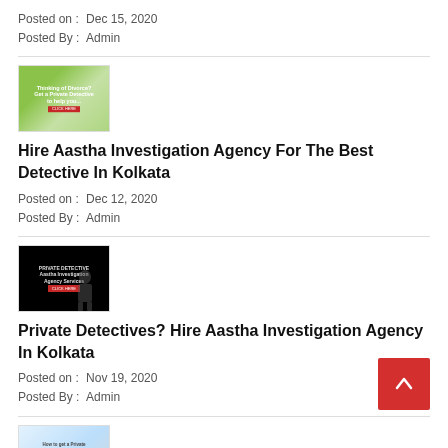Posted on :  Dec 15, 2020
Posted By :  Admin
[Figure (photo): Blog post thumbnail image for Hire Aastha Investigation Agency post]
Hire Aastha Investigation Agency For The Best Detective In Kolkata
Posted on :  Dec 12, 2020
Posted By :  Admin
[Figure (photo): Dark blog post thumbnail image for Private Detectives post, shows silhouette figure]
Private Detectives? Hire Aastha Investigation Agency In Kolkata
Posted on :  Nov 19, 2020
Posted By :  Admin
[Figure (photo): Blog post thumbnail image partially visible at bottom]